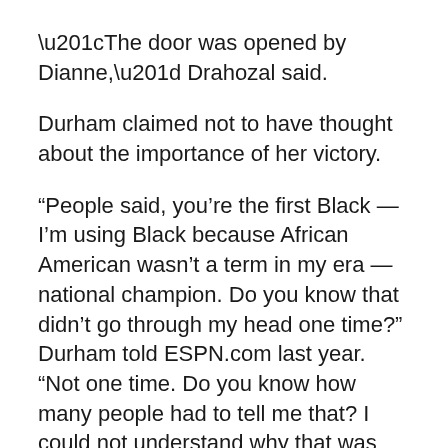“The door was opened by Dianne,” Drahozal said.
Durham claimed not to have thought about the importance of her victory.
“People said, you’re the first Black — I’m using Black because African American wasn’t a term in my era — national champion. Do you know that didn’t go through my head one time?” Durham told ESPN.com last year. “Not one time. Do you know how many people had to tell me that? I could not understand why that was such a humongous deal.”
Durham and Retton were the first star American pupils of Bela and Martha Karolyi, who moved